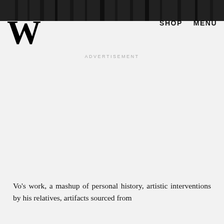[Figure (photo): Black and white photo of a dense forest or tree canopy, used as a header/banner image]
W   SHOP   MENU
ADVERTISEMENT
Vo's work, a mashup of personal history, artistic interventions by his relatives, artifacts sourced from